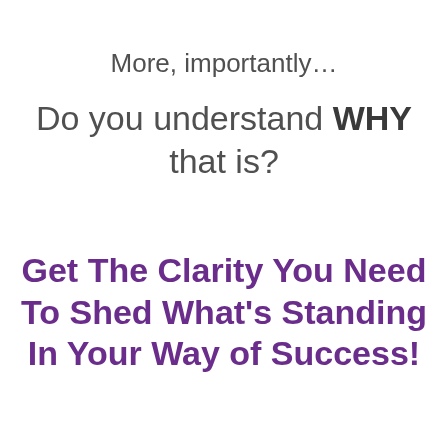More, importantly…
Do you understand WHY that is?
Get The Clarity You Need To Shed What's Standing In Your Way of Success!